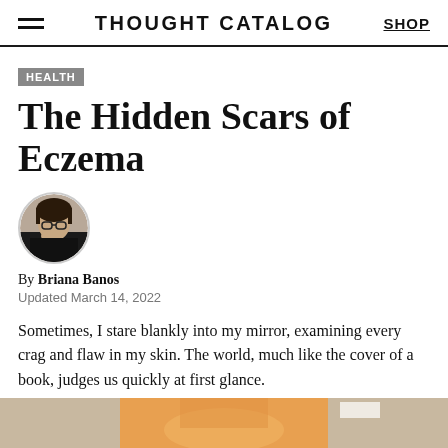THOUGHT CATALOG | SHOP
HEALTH
The Hidden Scars of Eczema
[Figure (photo): Circular author avatar photo of Briana Banos, a person wearing glasses with hand near face, dark clothing]
By Briana Banos
Updated March 14, 2022
Sometimes, I stare blankly into my mirror, examining every crag and flaw in my skin. The world, much like the cover of a book, judges us quickly at first glance.
[Figure (photo): Partial advertisement image at bottom of page, partially visible orange/warm toned image]